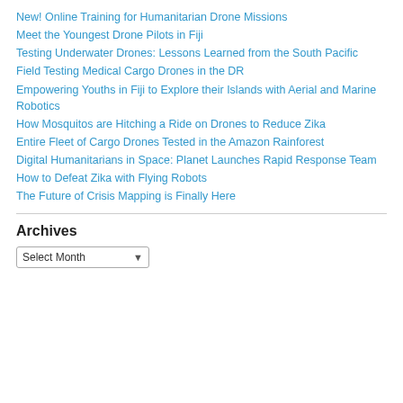New! Online Training for Humanitarian Drone Missions
Meet the Youngest Drone Pilots in Fiji
Testing Underwater Drones: Lessons Learned from the South Pacific
Field Testing Medical Cargo Drones in the DR
Empowering Youths in Fiji to Explore their Islands with Aerial and Marine Robotics
How Mosquitos are Hitching a Ride on Drones to Reduce Zika
Entire Fleet of Cargo Drones Tested in the Amazon Rainforest
Digital Humanitarians in Space: Planet Launches Rapid Response Team
How to Defeat Zika with Flying Robots
The Future of Crisis Mapping is Finally Here
Archives